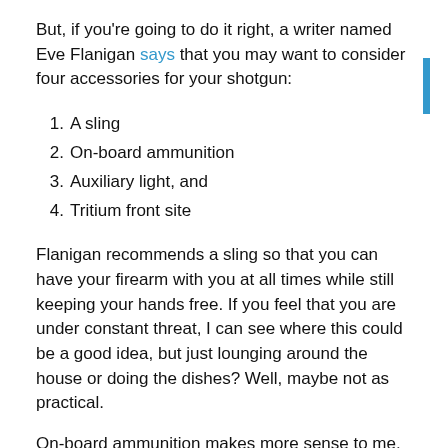But, if you're going to do it right, a writer named Eve Flanigan says that you may want to consider four accessories for your shotgun:
A sling
On-board ammunition
Auxiliary light, and
Tritium front site
Flanigan recommends a sling so that you can have your firearm with you at all times while still keeping your hands free. If you feel that you are under constant threat, I can see where this could be a good idea, but just lounging around the house or doing the dishes? Well, maybe not as practical.
On-board ammunition makes more sense to me. Whether you choose extended magazine tubes or some other method to